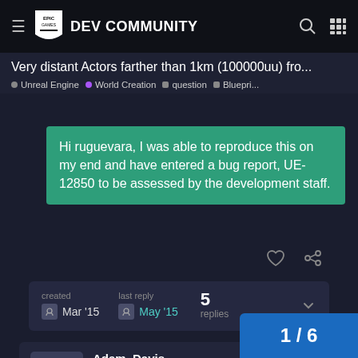Epic Games DEV COMMUNITY
Very distant Actors farther than 1km (100000uu) fro...
Unreal Engine • World Creation • question • Bluepri...
Hi ruguevara, I was able to reproduce this on my end and have entered a bug report, UE-12850 to be assessed by the development staff.
created Mar '15   last reply May '15   5 replies
Adam_Davis
Epic Alumni
Mar '15